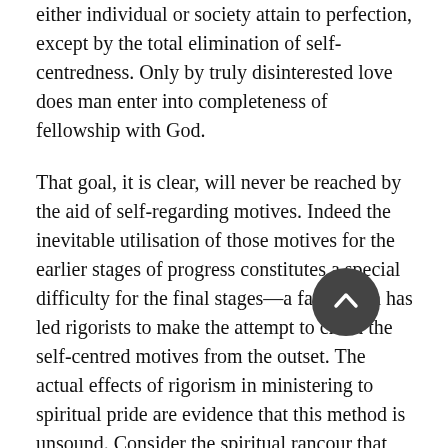either individual or society attain to perfection, except by the total elimination of self-centredness. Only by truly disinterested love does man enter into completeness of fellowship with God.
That goal, it is clear, will never be reached by the aid of self-regarding motives. Indeed the inevitable utilisation of those motives for the earlier stages of progress constitutes a special difficulty for the final stages—a fact which has led rigorists to make the attempt to crush the self-centred motives from the outset. The actual effects of rigorism in ministering to spiritual pride are evidence that this method is unsound. Consider the spiritual rancour that took a large part of the place belonging of right to charity in the soul of Jerome! The effort to crush self-concern by exaggerated austerities only leads to transference of concern from the self subjected to discipline to the self